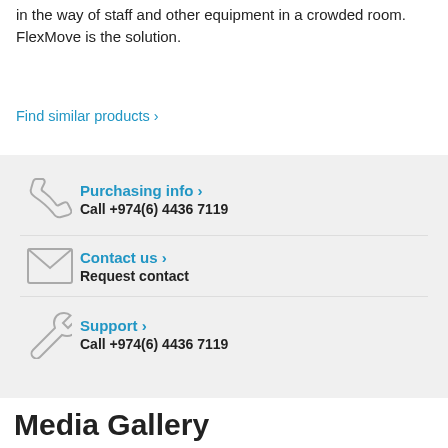in the way of staff and other equipment in a crowded room. FlexMove is the solution.
Find similar products ›
Purchasing info ›
Call +974(6) 4436 7119
Contact us ›
Request contact
Support ›
Call +974(6) 4436 7119
Media Gallery